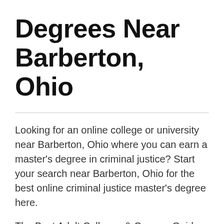Degrees Near Barberton, Ohio
Looking for an online college or university near Barberton, Ohio where you can earn a master's degree in criminal justice? Start your search near Barberton, Ohio for the best online criminal justice master's degree here.
The Best Adult Colleges & Careers Guide makes it easy to find information about the schools offering criminal justice master's degree